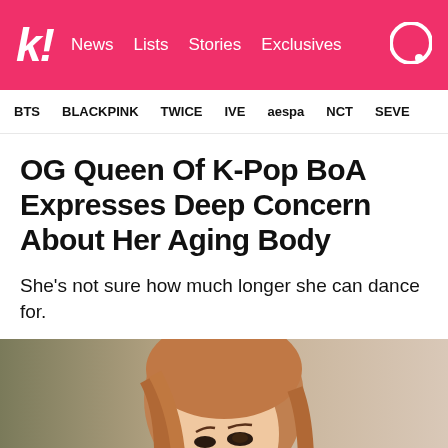k! News Lists Stories Exclusives
BTS BLACKPINK TWICE IVE aespa NCT SEVE
OG Queen Of K-Pop BoA Expresses Deep Concern About Her Aging Body
She's not sure how much longer she can dance for.
[Figure (photo): Close-up photo of a young woman with light brown/auburn hair, looking slightly upward, with a soft blurred green and pink background.]